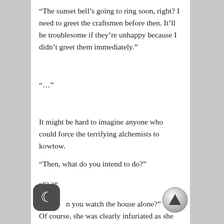“The sunset bell’s going to ring soon, right? I need to greet the craftsmen before then. It’ll be troublesome if they’re unhappy because I didn’t greet them immediately.”
“…”
It might be hard to imagine anyone who could force the terrifying alchemists to kowtow.
“Then, what do you intend to do?”
“Eh?”
n you watch the house alone?”
Of course, she was clearly infuriated as she